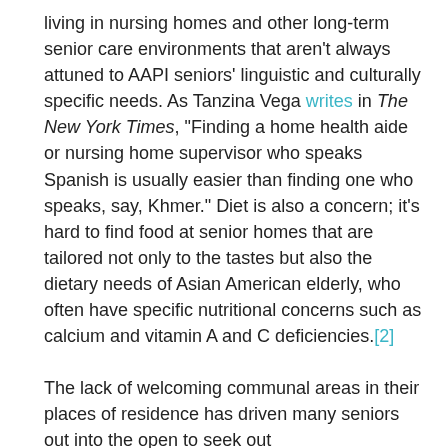living in nursing homes and other long-term senior care environments that aren't always attuned to AAPI seniors' linguistic and culturally specific needs. As Tanzina Vega writes in The New York Times, "Finding a home health aide or nursing home supervisor who speaks Spanish is usually easier than finding one who speaks, say, Khmer." Diet is also a concern; it's hard to find food at senior homes that are tailored not only to the tastes but also the dietary needs of Asian American elderly, who often have specific nutritional concerns such as calcium and vitamin A and C deficiencies.[2]
The lack of welcoming communal areas in their places of residence has driven many seniors out into the open to seek out